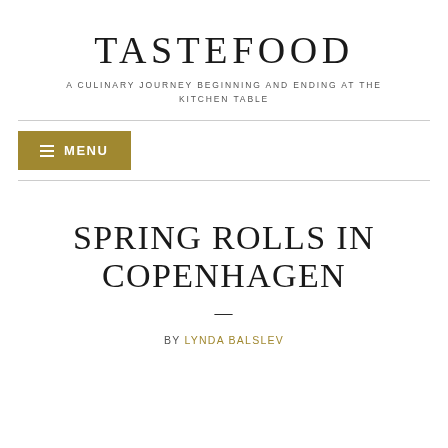TASTEFOOD
A CULINARY JOURNEY BEGINNING AND ENDING AT THE KITCHEN TABLE
MENU
SPRING ROLLS IN COPENHAGEN
BY LYNDA BALSLEV